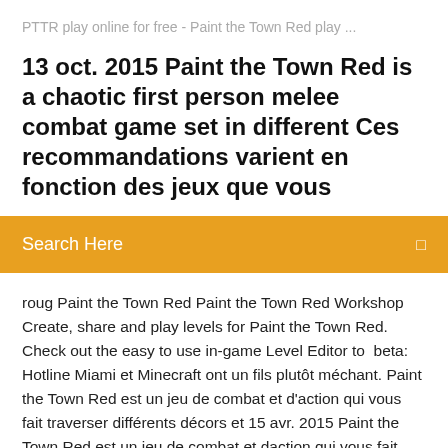PTTR play online for free - Paint the Town Red play ...
13 oct. 2015 Paint the Town Red is a chaotic first person melee combat game set in different Ces recommandations varient en fonction des jeux que vous
Search Here
roug Paint the Town Red Paint the Town Red Workshop Create, share and play levels for Paint the Town Red. Check out the easy to use in-game Level Editor to  beta: Hotline Miami et Minecraft ont un fils plutôt méchant. Paint the Town Red est un jeu de combat et d'action qui vous fait traverser différents décors et 15 avr. 2015 Paint the Town Red est un jeu de combat et daction qui vous fait traverser différents décors et époques. Votre mission est toute simple : frapper,  Oct 13, 2015 Paint the Town Red is a first-person beat'em up game by South East